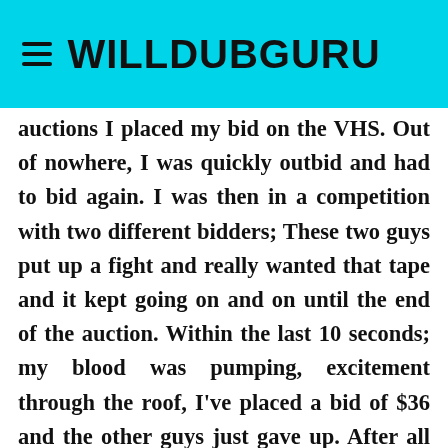WILLDUBGURU
auctions I placed my bid on the VHS. Out of nowhere, I was quickly outbid and had to bid again. I was then in a competition with two different bidders; These two guys put up a fight and really wanted that tape and it kept going on and on until the end of the auction. Within the last 10 seconds; my blood was pumping, excitement through the roof, I've placed a bid of $36 and the other guys just gave up. After all the high stakes action, I won the auction !
The final price ? : $33 (shipping included)
Photos of my prize :